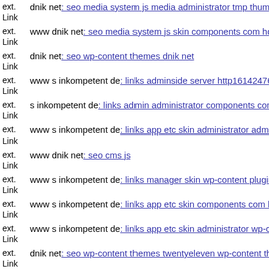ext. Link dnik net: seo media system js media administrator tmp thumb d
ext. Link www dnik net: seo media system js skin components com hdfl
ext. Link dnik net: seo wp-content themes dnik net
ext. Link www s inkompetent de: links adminside server http161424767
ext. Link s inkompetent de: links admin administrator components com f
ext. Link www s inkompetent de: links app etc skin administrator admin
ext. Link www dnik net: seo cms js
ext. Link www s inkompetent de: links manager skin wp-content plugins
ext. Link www s inkompetent de: links app etc skin components com hdi
ext. Link www s inkompetent de: links app etc skin administrator wp-co
ext. Link dnik net: seo wp-content themes twentyeleven wp-content then
ext.